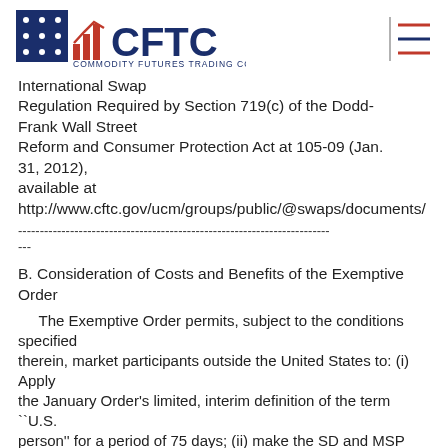CFTC - Commodity Futures Trading Commission logo and menu icon
International Swap Regulation Required by Section 719(c) of the Dodd-Frank Wall Street Reform and Consumer Protection Act at 105-09 (Jan. 31, 2012), available at http://www.cftc.gov/ucm/groups/public/@swaps/documents/
--------------------------------------------------------------------------------
---
B. Consideration of Costs and Benefits of the Exemptive Order
The Exemptive Order permits, subject to the conditions specified therein, market participants outside the United States to: (i) Apply the January Order's limited, interim definition of the term ``U.S. person'' for a period of 75 days; (ii) make the SD and MSP registration calculations in accordance with the January Order's